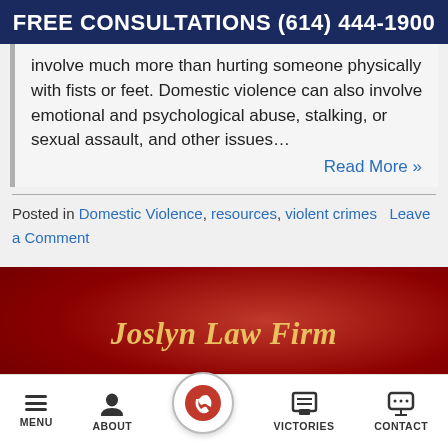FREE CONSULTATIONS (614) 444-1900
involve much more than hurting someone physically with fists or feet. Domestic violence can also involve emotional and psychological abuse, stalking, or sexual assault, and other issues...
Read More »
Posted in Domestic Violence, resources, violent crimes   Leave a Comment
Joslyn Law Firm